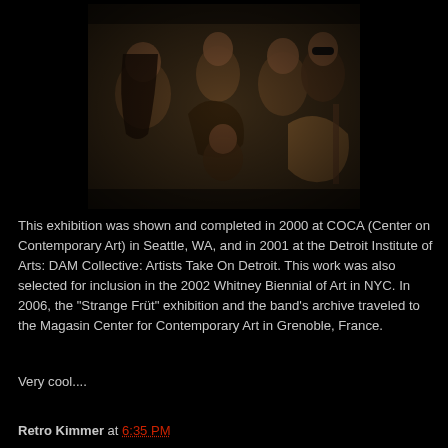[Figure (photo): Black and white/sepia vintage group photo of a rock band with multiple members posing together, some holding guitars]
This exhibition was shown and completed in 2000 at COCA (Center on Contemporary Art) in Seattle, WA, and in 2001 at the Detroit Institute of Arts: DAM Collective: Artists Take On Detroit. This work was also selected for inclusion in the 2002 Whitney Biennial of Art in NYC. In 2006, the "Strange Früt" exhibition and the band's archive traveled to the Magasin Center for Contemporary Art in Grenoble, France.
Very cool....
Retro Kimmer at 6:35 PM